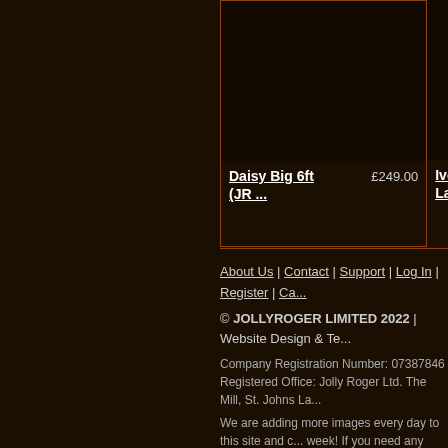[Figure (other): Product image area for Daisy Big 6ft (JR...)]
Daisy Big 6ft (JR ...   £249.00
[Figure (other): Product image area for Ivory Skull Large ...]
Ivory Skull Large ...
About Us | Contact | Support | Log In | Register | Ca... | © JOLLYROGER LIMITED 2022 | Website Design & Te... | Company Registration Number: 07387846 | Registered Office: Jolly Roger Ltd. The Mill, St. Johns La... | We are adding more images every day to this site and c... week! If you need any more information on these or othe...